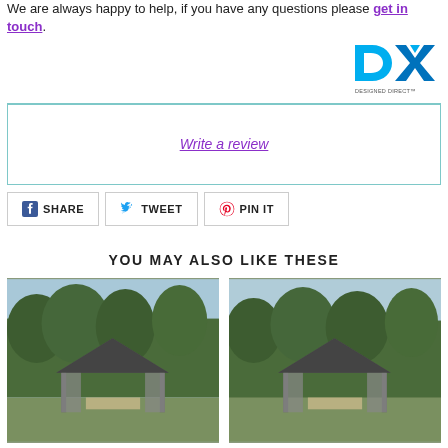We are always happy to help, if you have any questions please get in touch.
[Figure (logo): DX Designed Direct logo - blue and cyan colored DX letters with text 'DESIGNED DIRECT' below]
[Figure (other): Write a review link box with teal border]
[Figure (infographic): Social share buttons: Facebook SHARE, Twitter TWEET, Pinterest PIN IT]
YOU MAY ALSO LIKE THESE
[Figure (photo): Garden gazebo with dark roof and curtains in an outdoor garden setting]
[Figure (photo): Garden gazebo with dark roof and curtains in an outdoor garden setting]